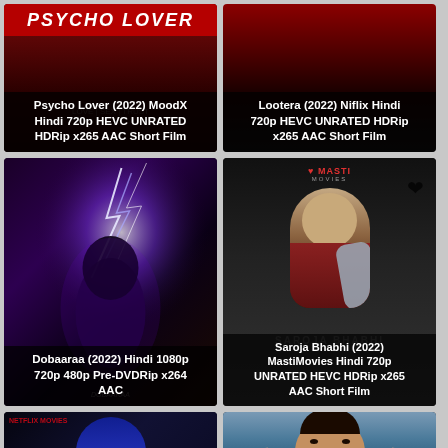[Figure (screenshot): Movie thumbnail: Psycho Lover (2022) MoodX Hindi 720p HEVC UNRATED HDRip x265 AAC Short Film]
[Figure (screenshot): Movie thumbnail: Lootera (2022) Niflix Hindi 720p HEVC UNRATED HDRip x265 AAC Short Film]
[Figure (screenshot): Movie thumbnail: Dobaaraa (2022) Hindi 1080p 720p 480p Pre-DVDRip x264 AAC]
[Figure (screenshot): Movie thumbnail: Saroja Bhabhi (2022) MastiMovies Hindi 720p UNRATED HEVC HDRip x265 AAC Short Film]
[Figure (screenshot): Movie thumbnail bottom left - partial view]
[Figure (screenshot): Movie thumbnail bottom right - partial view of male actor]